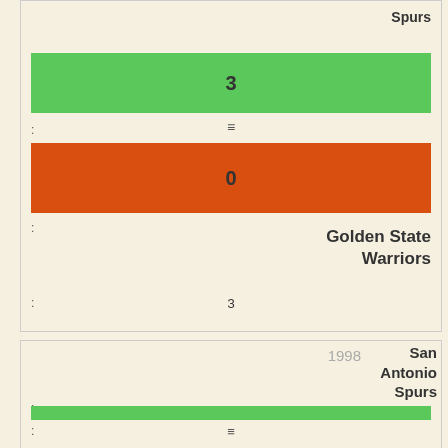Spurs
3
≡
0
Golden State Warriors
3
1998 San Antonio Spurs
3
≡